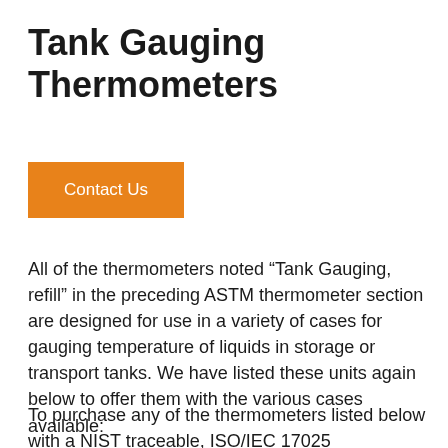Tank Gauging Thermometers
Contact Us
All of the thermometers noted “Tank Gauging, refill” in the preceding ASTM thermometer section are designed for use in a variety of cases for gauging temperature of liquids in storage or transport tanks. We have listed these units again below to offer them with the various cases available:
To purchase any of the thermometers listed below with a NIST traceable, ISO/IEC 17025